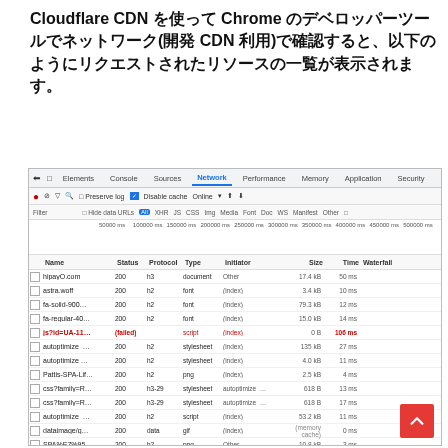Cloudflare CDN を使って Chrome のデベロッパーツールでネットワーク(開発 CDN 利用)で確認すると、以下のようにリクエストされたリソースの一覧が表示されます。
[Figure (screenshot): Chrome DevTools Network panel screenshot showing a list of network requests including hipayO.com, astra.woff, fa-solid-900, fa-regular-40, js?id=UA-11 (failed, red), autoptimize files, Pattis-SPA-Lif, css?family files, dataimage/g, SPA%E7%95... items, with columns Name, Status, Protocol, Type, Initiator, Size, Time, Waterfall]